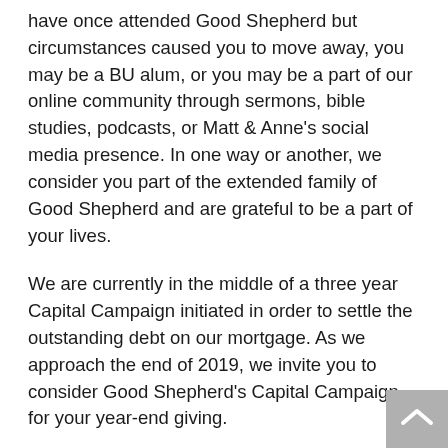have once attended Good Shepherd but circumstances caused you to move away, you may be a BU alum, or you may be a part of our online community through sermons, bible studies, podcasts, or Matt & Anne's social media presence. In one way or another, we consider you part of the extended family of Good Shepherd and are grateful to be a part of your lives.
We are currently in the middle of a three year Capital Campaign initiated in order to settle the outstanding debt on our mortgage. As we approach the end of 2019, we invite you to consider Good Shepherd's Capital Campaign for your year-end giving.
Though the Capital Campaign is moving into its second year, this is probably the first you have heard of it. The focus of Phase One has been to raise $100,000 within the local worshipping body of Good Shepherd. So far we have raised